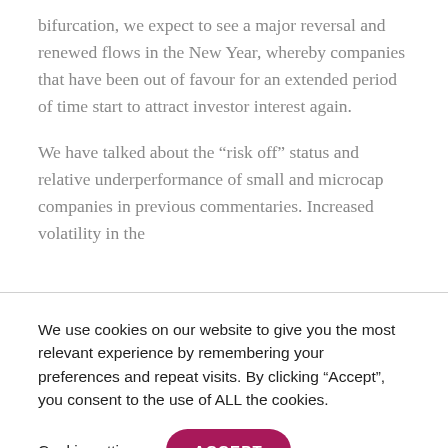bifurcation, we expect to see a major reversal and renewed flows in the New Year, whereby companies that have been out of favour for an extended period of time start to attract investor interest again.
We have talked about the “risk off” status and relative underperformance of small and microcap companies in previous commentaries. Increased volatility in the
We use cookies on our website to give you the most relevant experience by remembering your preferences and repeat visits. By clicking “Accept”, you consent to the use of ALL the cookies.
Cookie settings
ACCEPT